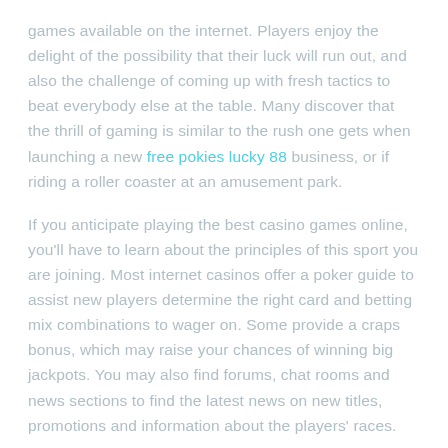games available on the internet. Players enjoy the delight of the possibility that their luck will run out, and also the challenge of coming up with fresh tactics to beat everybody else at the table. Many discover that the thrill of gaming is similar to the rush one gets when launching a new free pokies lucky 88 business, or if riding a roller coaster at an amusement park.
If you anticipate playing the best casino games online, you'll have to learn about the principles of this sport you are joining. Most internet casinos offer a poker guide to assist new players determine the right card and betting mix combinations to wager on. Some provide a craps bonus, which may raise your chances of winning big jackpots. You may also find forums, chat rooms and news sections to find the latest news on new titles, promotions and information about the players' races.
Many top online casinos have special offers and discounts